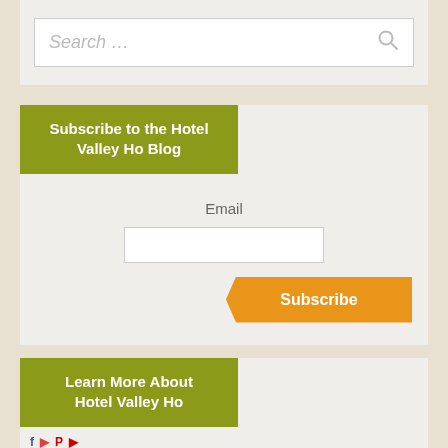[Figure (screenshot): Search input box with placeholder text 'Search ...' and a search icon on the right]
Subscribe to the Hotel Valley Ho Blog
Email
[Figure (screenshot): Email text input field]
[Figure (screenshot): Orange Subscribe button with arrow/tab shape pointing left]
Learn More About Hotel Valley Ho